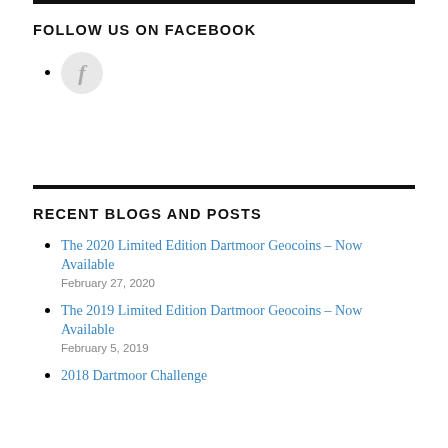FOLLOW US ON FACEBOOK
Facebook icon (f)
RECENT BLOGS AND POSTS
The 2020 Limited Edition Dartmoor Geocoins – Now Available
February 27, 2020
The 2019 Limited Edition Dartmoor Geocoins – Now Available
February 5, 2019
2018 Dartmoor Challenge